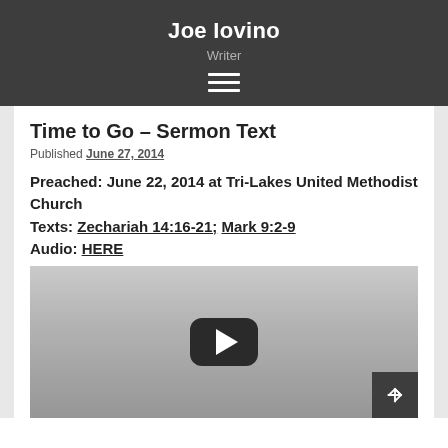Joe Iovino
Writer
Time to Go – Sermon Text
Published June 27, 2014
Preached:Â June 22, 2014 at Tri-Lakes United Methodist Church
Texts:Â Zechariah 14:16-21;Â Mark 9:2-9Â
Audio:Â HERE
[Figure (screenshot): YouTube video embed thumbnail with play button, partially visible]